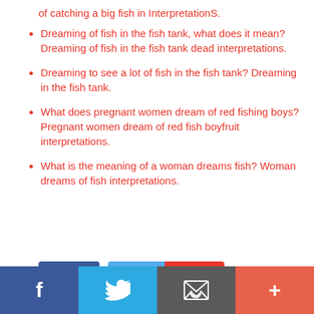of catching a big fish in InterpretationS.
Dreaming of fish in the fish tank, what does it mean? Dreaming of fish in the fish tank dead interpretations.
Dreaming to see a lot of fish in the fish tank? Dreaming in the fish tank.
What does pregnant women dream of red fishing boys? Pregnant women dream of red fish boyfruit interpretations.
What is the meaning of a woman dreams fish? Woman dreams of fish interpretations.
[Figure (infographic): Social share buttons: Like 0, Tweet, Share]
Footer bar with Facebook, Twitter, Email, and Plus icons